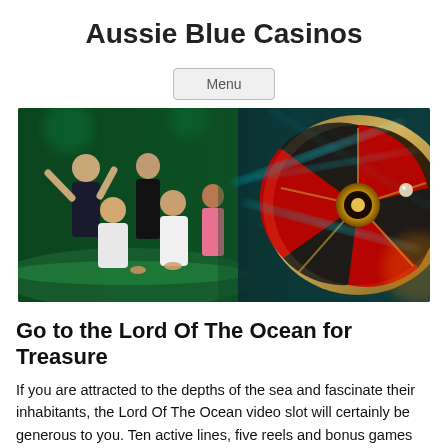Aussie Blue Casinos
Menu
[Figure (photo): Casino scene showing people celebrating at a gaming table on the left, and a roulette wheel in motion on the right, with green and colorful lighting.]
Go to the Lord Of The Ocean for Treasure
If you are attracted to the depths of the sea and fascinate their inhabitants, the Lord Of The Ocean video slot will certainly be generous to you. Ten active lines, five reels and bonus games with a special expanding symbol will give you the biggest winning combinations.